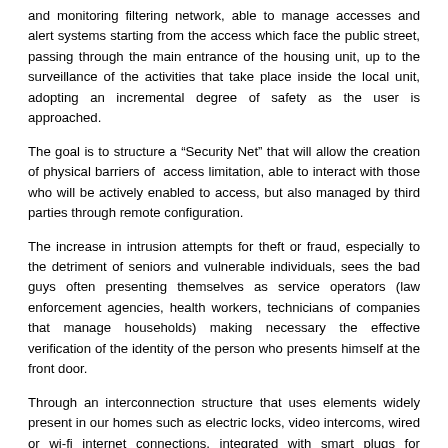and monitoring filtering network, able to manage accesses and alert systems starting from the access which face the public street, passing through the main entrance of the housing unit, up to the surveillance of the activities that take place inside the local unit, adopting an incremental degree of safety as the user is approached.
The goal is to structure a “Security Net” that will allow the creation of physical barriers of  access limitation, able to interact with those who will be actively enabled to access, but also managed by third parties through remote configuration.
The increase in intrusion attempts for theft or fraud, especially to the detriment of seniors and vulnerable individuals, sees the bad guys often presenting themselves as service operators (law enforcement agencies, health workers, technicians of companies that manage households) making necessary the effective verification of the identity of the person who presents himself at the front door.
Through an interconnection structure that uses elements widely present in our homes such as electric locks, video intercoms, wired or wi-fi internet connections, integrated with smart plugs for environmental monitoring, with the help of a smartphone (now in the pocket of anyone present in front of a house) the user will be able to identify who requires access to a condominium or a housing unit.